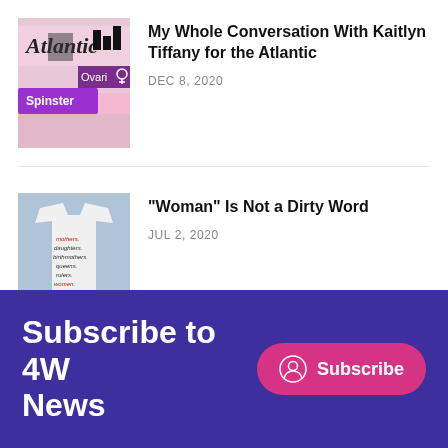[Figure (photo): Thumbnail image: Atlantic magazine with Spinster and Ovarit branding overlaid on pink background]
My Whole Conversation With Kaitlyn Tiffany for the Atlantic
DEC 8, 2020
[Figure (photo): Thumbnail image: Person wearing white t-shirt with red text listing words]
"Woman" Is Not a Dirty Word
JUL 2, 2020
Subscribe to 4W
News